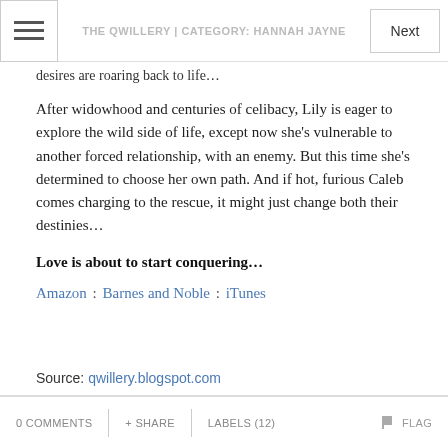THE QWILLERY | CATEGORY: HANNAH JAYNE
desires are roaring back to life…
After widowhood and centuries of celibacy, Lily is eager to explore the wild side of life, except now she's vulnerable to another forced relationship, with an enemy. But this time she's determined to choose her own path. And if hot, furious Caleb comes charging to the rescue, it might just change both their destinies…
Love is about to start conquering…
Amazon : Barnes and Noble : iTunes
Source: qwillery.blogspot.com
0 COMMENTS + SHARE LABELS (12) FLAG